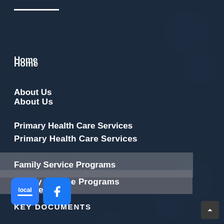Home
About Us
Primary Health Care Services
Family Service Programs
Membership
Careers
Contact Us
KEY DOCUMENTS